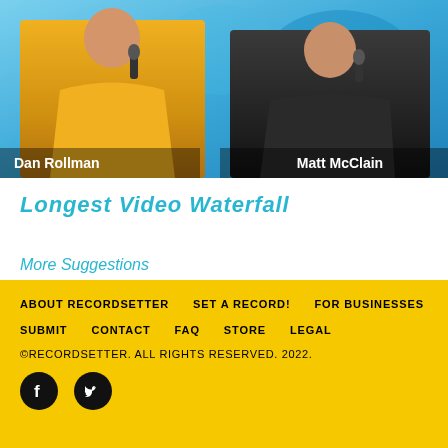[Figure (photo): Two people on stage: a woman in a yellow jacket on the left labeled 'Dan Rollman', and a man in a dark shirt on the right labeled 'Matt McClain', against a blue background.]
Longest Video Waterfall
More Suggestions
ABOUT RECORDSETTER   SET A RECORD!   FOR BUSINESSES   SUBMIT   CONTACT   FAQ   STORE   LEGAL   ©RECORDSETTER. ALL RIGHTS RESERVED. 2022.